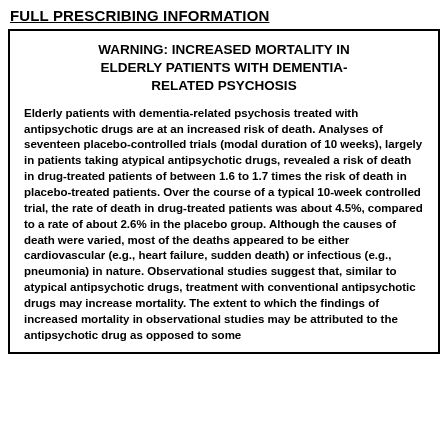FULL PRESCRIBING INFORMATION
WARNING: INCREASED MORTALITY IN ELDERLY PATIENTS WITH DEMENTIA-RELATED PSYCHOSIS
Elderly patients with dementia-related psychosis treated with antipsychotic drugs are at an increased risk of death. Analyses of seventeen placebo-controlled trials (modal duration of 10 weeks), largely in patients taking atypical antipsychotic drugs, revealed a risk of death in drug-treated patients of between 1.6 to 1.7 times the risk of death in placebo-treated patients. Over the course of a typical 10-week controlled trial, the rate of death in drug-treated patients was about 4.5%, compared to a rate of about 2.6% in the placebo group. Although the causes of death were varied, most of the deaths appeared to be either cardiovascular (e.g., heart failure, sudden death) or infectious (e.g., pneumonia) in nature. Observational studies suggest that, similar to atypical antipsychotic drugs, treatment with conventional antipsychotic drugs may increase mortality. The extent to which the findings of increased mortality in observational studies may be attributed to the antipsychotic drug as opposed to some characteristics of the patients is not clear.